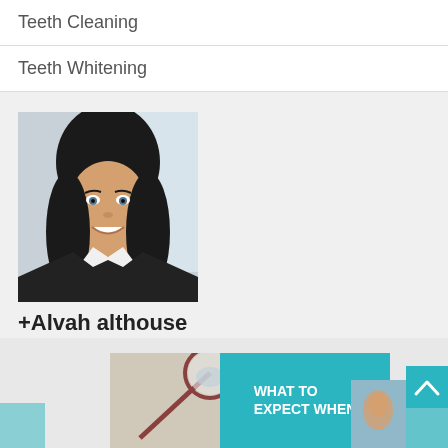Teeth Cleaning
Teeth Whitening
[Figure (photo): Portrait of a smiling woman with dark hair wearing a black top with white collar]
+Alvah althouse
[Figure (infographic): Bottom banner showing dental tools image on left, teal box with text 'WHAT TO EXPECT WHEN' in center, small dental image on right, and teal scroll-up button on far right]